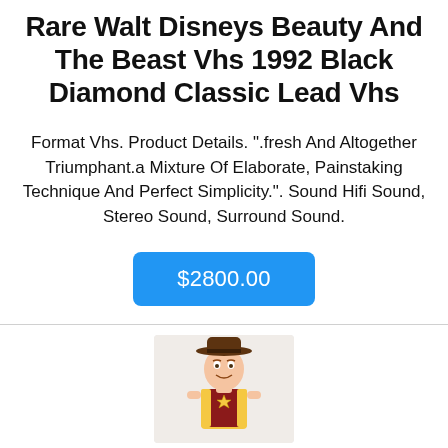Rare Walt Disneys Beauty And The Beast Vhs 1992 Black Diamond Classic Lead Vhs
Format Vhs. Product Details. ".fresh And Altogether Triumphant.a Mixture Of Elaborate, Painstaking Technique And Perfect Simplicity.". Sound Hifi Sound, Stereo Sound, Surround Sound.
$2800.00
[Figure (photo): Photo of a Woody (Toy Story) action figure wearing a cowboy hat with a sheriff star badge, partial view showing upper body.]